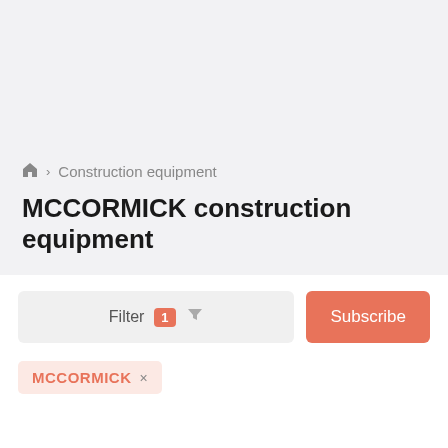Construction equipment
MCCORMICK construction equipment
Filter 1 Subscribe
MCCORMICK ×
MCCORMICK construction equipment: 1 ad